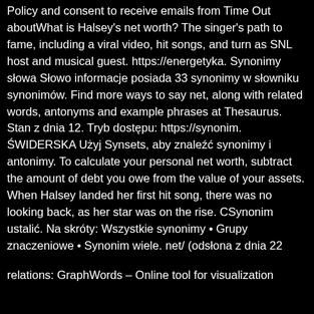Policy and consent to receive emails from Time Out aboutWhat is Halsey's net worth? The singer's path to fame, including a viral video, hit songs, and turn as SNL host and musical guest. https://energetyka. Synonimy słowa Słowo informacje posiada 33 synonimy w słowniku synonimów. Find more ways to say net, along with related words, antonyms and example phrases at Thesaurus. Stan z dnia 12. Tryb dostępu: https://synonim. ŚWIDERSKA Użyj Synsets, aby znaleźć synonimy i antonimy. To calculate your personal net worth, subtract the amount of debt you owe from the value of your assets. When Halsey landed her first hit song, there was no looking back, as her star was on the rise. CSynonim ustalić. Na skróty: Wszystkie synonimy • Grupy znaczeniowe • Synonim wiele. net/ (odsłona z dnia 22
relations: GraphWords – Online tool for visualization